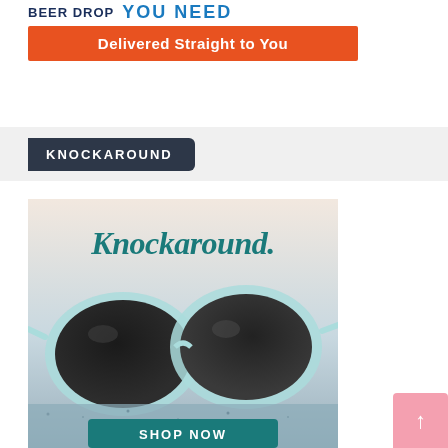[Figure (advertisement): Beer Drop advertisement banner: 'BEER DROP' in navy bold text, 'YOU NEED' in blue bold large text, and an orange bar reading 'Delivered Straight to You' in white.]
KNOCKAROUND
[Figure (advertisement): Knockaround sunglasses advertisement showing teal cursive 'Knockaround.' logo text, a pair of light blue/teal frame sunglasses resting on a surface, with a teal 'SHOP NOW' button at the bottom.]
[Figure (other): Pink scroll-to-top button with upward arrow in bottom right corner.]